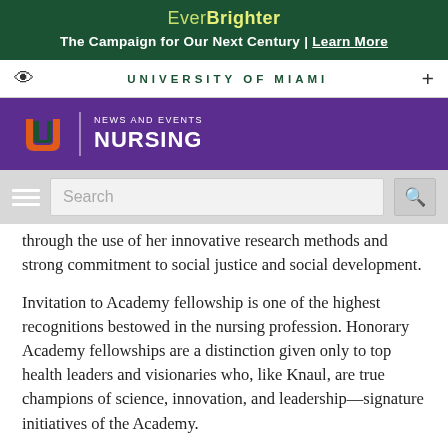Ever Brighter - The Campaign for Our Next Century | Learn More
UNIVERSITY OF MIAMI
NEWS AND EVENTS NURSING
through the use of her innovative research methods and strong commitment to social justice and social development.
Invitation to Academy fellowship is one of the highest recognitions bestowed in the nursing profession. Honorary Academy fellowships are a distinction given only to top health leaders and visionaries who, like Knaul, are true champions of science, innovation, and leadership—signature initiatives of the Academy.